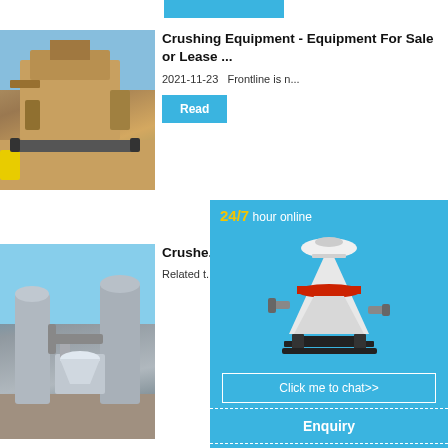[Figure (photo): Top blue decorative bar]
[Figure (photo): Crushing equipment / large mobile crusher machine in desert setting]
Crushing Equipment - Equipment For Sale or Lease ...
2021-11-23   Frontline is n...
Read
[Figure (photo): Industrial crusher/mill equipment with silos and piping]
Crusher Saskat... Crushe... Crushe...
Related t...
[Figure (infographic): 24/7 hour online chat widget overlay with cone crusher machine image, Click me to chat>> button, Enquiry button, and limingjlmofen footer text]